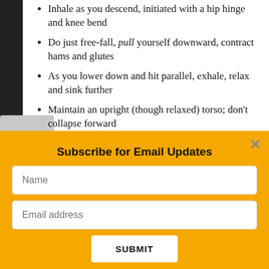Inhale as you descend, initiated with a hip hinge and knee bend
Do just free-fall, pull yourself downward, contract hams and glutes
As you lower down and hit parallel, exhale, relax and sink further
Maintain an upright (though relaxed) torso; don't collapse forward
Subscribe for Email Updates
Name
Email address
SUBMIT